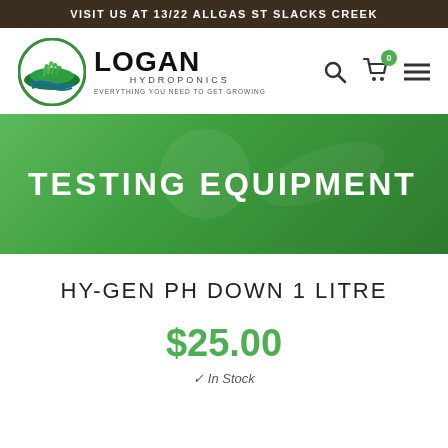VISIT US AT 13/22 ALLGAS ST SLACKS CREEK
[Figure (logo): Logan Hydroponics logo with circular green emblem and text 'LOGAN HYDROPONICS - EVERYTHING YOU NEED TO GET GROWING']
TESTING EQUIPMENT
HY-GEN PH DOWN 1 LITRE
$25.00
✓ In Stock